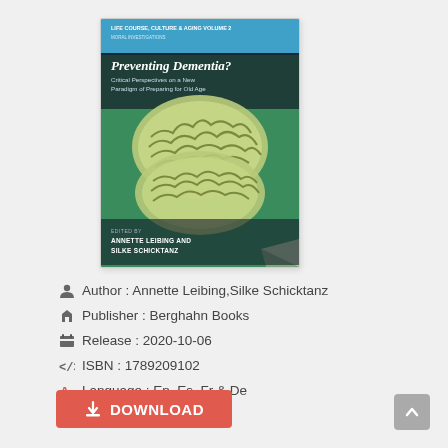[Figure (photo): Book cover for 'Preventing Dementia? Critical Perspectives on a New Paradigm of Preparing for Old Age' edited by Annette Leibing and Silke Schicktanz, published by Berghahn Books. Cover features a green brain image on a teal/green background with a blue banner at top.]
Author : Annette Leibing,Silke Schicktanz
Publisher : Berghahn Books
Release : 2020-10-06
ISBN : 1789209102
Language : En, Es, Fr & De
DOWNLOAD